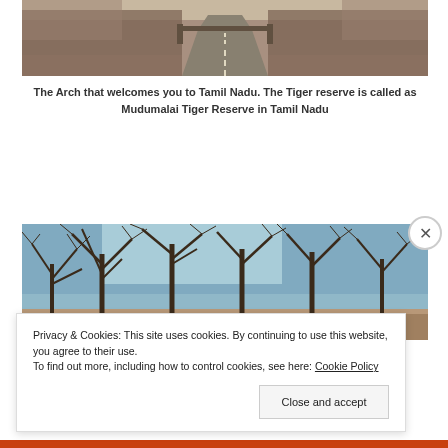[Figure (photo): Road leading into Tamil Nadu through a forested area with bare trees on either side, sepia-toned]
The Arch that welcomes you to Tamil Nadu. The Tiger reserve is called as Mudumalai Tiger Reserve in Tamil Nadu
[Figure (photo): Winter trees with bare branches against a light blue sky, landscape view]
Advertisements
Privacy & Cookies: This site uses cookies. By continuing to use this website, you agree to their use.
To find out more, including how to control cookies, see here: Cookie Policy
Close and accept